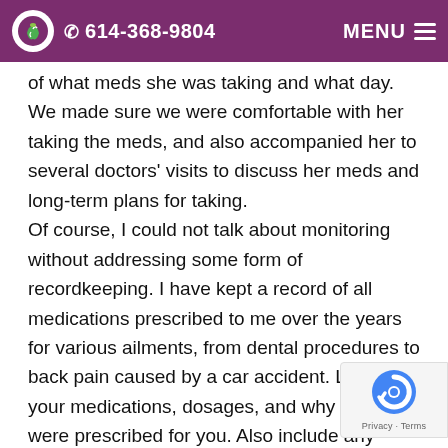614-368-9804   MENU
of what meds she was taking and what day. We made sure we were comfortable with her taking the meds, and also accompanied her to several doctors' visits to discuss her meds and long-term plans for taking. Of course, I could not talk about monitoring without addressing some form of recordkeeping. I have kept a record of all medications prescribed to me over the years for various ailments, from dental procedures to back pain caused by a car accident. List all of your medications, dosages, and why they were prescribed for you. Also include any over-the-counter medications you take. Be sure to share with your doctor. Prescription opioids are powerful, and can be harmful with long-term use. If you have concerns, talk to your doctor and ask about alternative ways to address